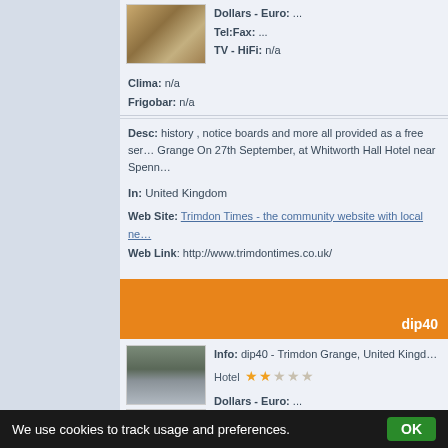[Figure (photo): Hotel room interior photo]
Dollars - Euro: ...
Tel:Fax: ...
TV - HiFi: n/a
Clima: n/a
Frigobar: n/a
Desc: history , notice boards and more all provided as a free ser... Grange On 27th September, at Whitworth Hall Hotel near Spenn...
In: United Kingdom
Web Site: Trimdon Times - the community website with local ne...
Web Link: http://www.trimdontimes.co.uk/
dip40
[Figure (photo): Hotel building exterior photo 1]
Info: dip40 - Trimdon Grange, United Kingd...
Hotel ★★☆☆☆
Dollars - Euro: ...
Tel:Fax: ...
TV - HiFi: n/a
[Figure (photo): Hotel building exterior photo 2]
We use cookies to track usage and preferences.